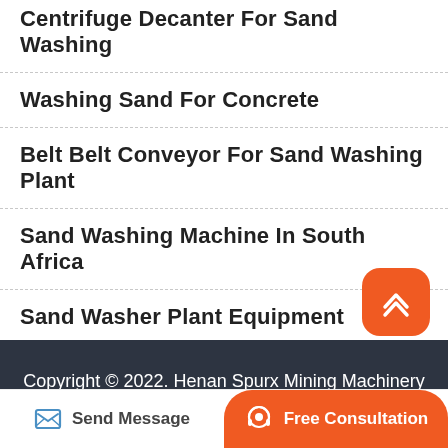Centrifuge Decanter For Sand Washing
Washing Sand For Concrete
Belt Belt Conveyor For Sand Washing Plant
Sand Washing Machine In South Africa
Sand Washer Plant Equipment
Cost Of A Sand Washing Plant In Zambia
Copyright © 2022. Henan Spurx Mining Machinery Co., Ltd. All rights reserved.Sitemap
Send Message
Free Consultation